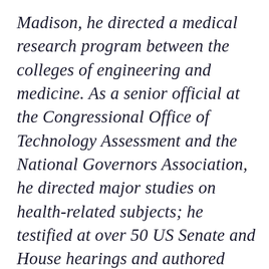Madison, he directed a medical research program between the colleges of engineering and medicine. As a senior official at the Congressional Office of Technology Assessment and the National Governors Association, he directed major studies on health-related subjects; he testified at over 50 US Senate and House hearings and authored hundreds of articles and op-ed articles in major newspapers. He has served as an executive volunteer at a